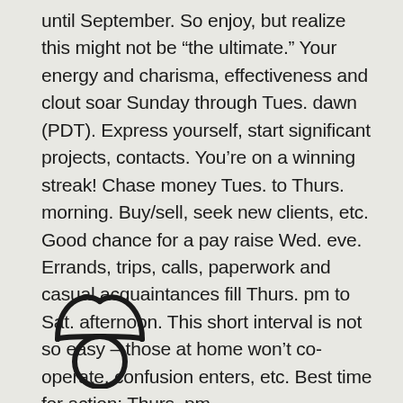until September. So enjoy, but realize this might not be “the ultimate.” Your energy and charisma, effectiveness and clout soar Sunday through Tues. dawn (PDT). Express yourself, start significant projects, contacts. You’re on a winning streak! Chase money Tues. to Thurs. morning. Buy/sell, seek new clients, etc. Good chance for a pay raise Wed. eve. Errands, trips, calls, paperwork and casual acquaintances fill Thurs. pm to Sat. afternoon. This short interval is not so easy – those at home won’t co-operate, confusion enters, etc. Best time for action: Thurs. pm.
[Figure (illustration): Taurus zodiac symbol (bull horns and circle) drawn in black outline]